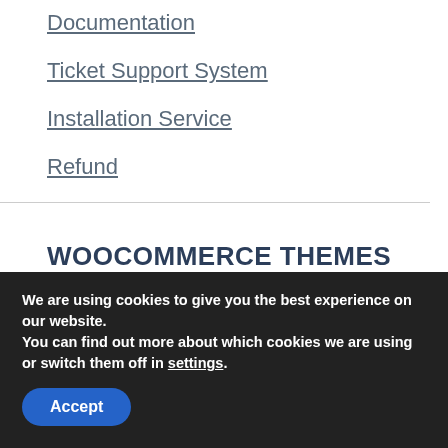Documentation
Ticket Support System
Installation Service
Refund
WOOCOMMERCE THEMES
Copyright © 2021 WooSkins
We are using cookies to give you the best experience on our website.
You can find out more about which cookies we are using or switch them off in settings.